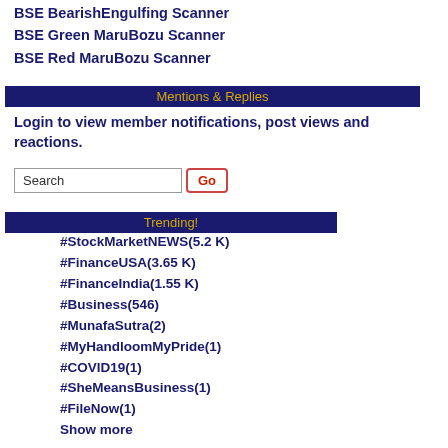BSE BearishEngulfing Scanner
BSE Green MaruBozu Scanner
BSE Red MaruBozu Scanner
Mentions & Replies
Login to view member notifications, post views and reactions.
Search
Trending!
#StockMarketNEWS(5.2 K)
#FinanceUSA(3.65 K)
#FinanceIndia(1.55 K)
#Business(546)
#MunafaSutra(2)
#MyHandloomMyPride(1)
#COVID19(1)
#SheMeansBusiness(1)
#FileNow(1)
Show more